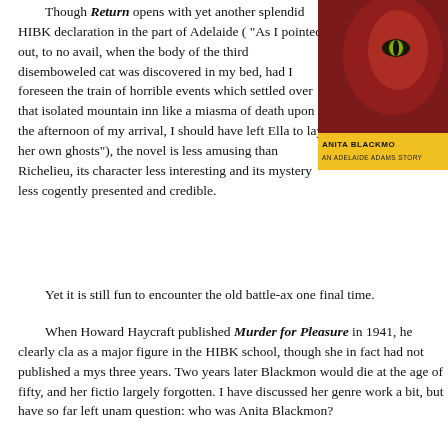Though Return opens with yet another splendid HIBK declaration in the part of Adelaide ( "As I pointed out, to no avail, when the body of the third disemboweled cat was discovered in my bed, had I foreseen the train of horrible events which settled over that isolated mountain inn like a miasma of death upon the afternoon of my arrival, I should have left Ella to lay her own ghosts"), the novel is less amusing than Richelieu, its character less interesting and its mystery less cogently presented and credible.
[Figure (photo): Book cover for Anita Blackmon's Adelaide Adams story, with red/dark cover and yellow bar at bottom showing author name]
Yet it is still fun to encounter the old battle-ax one final time.
When Howard Haycraft published Murder for Pleasure in 1941, he clearly cla as a major figure in the HIBK school, though she in fact had not published a mys three years. Two years later Blackmon would die at the age of fifty, and her fictio largely forgotten. I have discussed her genre work a bit, but have so far left unam question: who was Anita Blackmon?
Anita Blackmon was born in 1893 in the small eastern Arkansas town of Augusta. The daughter of Augusta postmaster and mayor Edwin E. Blackmon and his wife, Augusta Public School principal Eva Hutchison Blackmon, both originally from Washburn, Illinois, Anita Blackmon revealed a literary bent from a young age, penning her first short story at the age of seven.
[Figure (photo): Book cover with circular target/eye design in red and black, appears to be a detective/mystery anthology cover]
Readingmore to Blackmon...